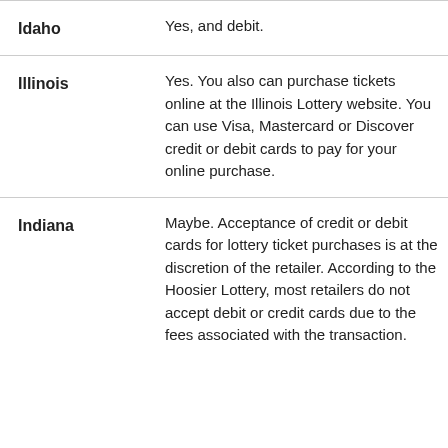| State | Credit/Debit Card Policy |
| --- | --- |
| Idaho | Yes, and debit. |
| Illinois | Yes. You also can purchase tickets online at the Illinois Lottery website. You can use Visa, Mastercard or Discover credit or debit cards to pay for your online purchase. |
| Indiana | Maybe. Acceptance of credit or debit cards for lottery ticket purchases is at the discretion of the retailer. According to the Hoosier Lottery, most retailers do not accept debit or credit cards due to the fees associated with the transaction... |